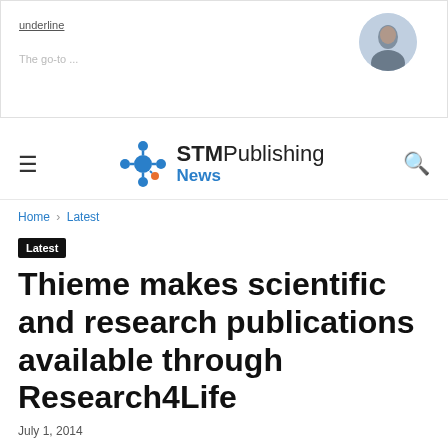[Figure (screenshot): Top banner advertisement area with 'underline' text link and user avatar photo, showing partial 'The go-to' text below]
STMPublishing News
Home › Latest
Latest
Thieme makes scientific and research publications available through Research4Life
July 1, 2014